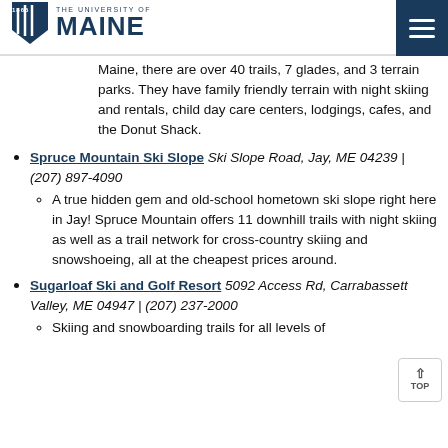1865 THE UNIVERSITY OF MAINE
Maine, there are over 40 trails, 7 glades, and 3 terrain parks. They have family friendly terrain with night skiing and rentals, child day care centers, lodgings, cafes, and the Donut Shack.
Spruce Mountain Ski Slope Ski Slope Road, Jay, ME 04239 | (207) 897-4090
A true hidden gem and old-school hometown ski slope right here in Jay! Spruce Mountain offers 11 downhill trails with night skiing as well as a trail network for cross-country skiing and snowshoeing, all at the cheapest prices around.
Sugarloaf Ski and Golf Resort 5092 Access Rd, Carrabassett Valley, ME 04947 | (207) 237-2000
Skiing and snowboarding trails for all levels of